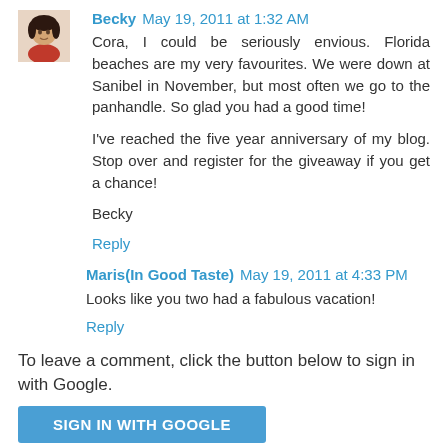[Figure (photo): Profile photo of Becky - woman in red top]
Becky May 19, 2011 at 1:32 AM
Cora, I could be seriously envious. Florida beaches are my very favourites. We were down at Sanibel in November, but most often we go to the panhandle. So glad you had a good time!

I've reached the five year anniversary of my blog. Stop over and register for the giveaway if you get a chance!

Becky
Reply
Maris(In Good Taste) May 19, 2011 at 4:33 PM
Looks like you two had a fabulous vacation!
Reply
To leave a comment, click the button below to sign in with Google.
SIGN IN WITH GOOGLE